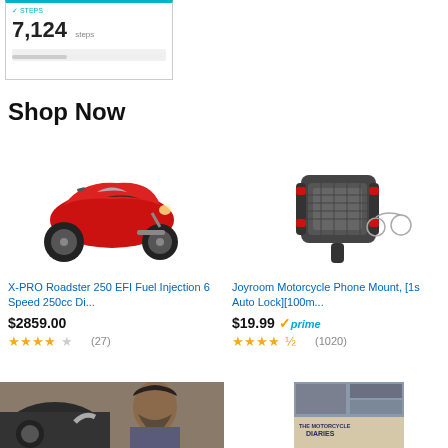[Figure (screenshot): Health/fitness widget showing 7,124 steps with teal top border]
Shop Now
[Figure (photo): Red X-PRO Roadster 250 motorcycle, sport bike style]
X-PRO Roadster 250 EFI Fuel Injection 6 Speed 250cc Di...
$2859.00
3.5 stars (27)
[Figure (photo): Joyroom motorcycle phone mount, black and red metal clamp]
Joyroom Motorcycle Phone Mount, [1s Auto Lock][100m...
$19.99 prime
4.5 stars (1020)
[Figure (photo): Man working on motorcycle engine, partial bottom image]
[Figure (photo): The Motorcycle Diaries DVD cover, partial bottom image]